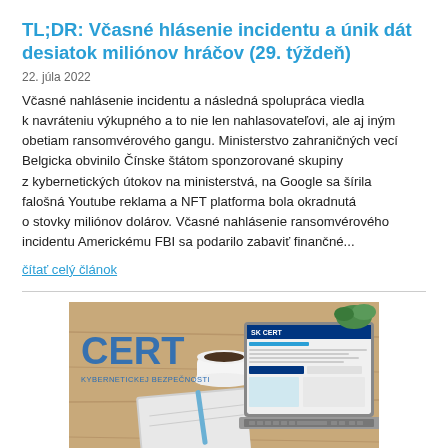TL;DR: Včasné hlásenie incidentu a únik dát desiatok miliónov hráčov (29. týždeň)
22. júla 2022
Včasné nahlásenie incidentu a následná spolupráca viedla k navráteniu výkupného a to nie len nahlasovateľovi, ale aj iným obetiam ransomvérového gangu. Ministerstvo zahraničných vecí Belgicka obvinilo Čínske štátom sponzorované skupiny z kybernetických útokov na ministerstvá, na Google sa šírila falošná Youtube reklama a NFT platforma bola okradnutá o stovky miliónov dolárov. Včasné nahlásenie ransomvérového incidentu Americkému FBI sa podarilo zabaviť finančné...
čítať celý článok
[Figure (photo): Photo of a desk with a laptop, notebook, pen, coffee cup, and a CERT (Centrum Kybernetickej Bezpečnosti) logo/branding visible, along with an SK-CERT website shown on a laptop screen.]